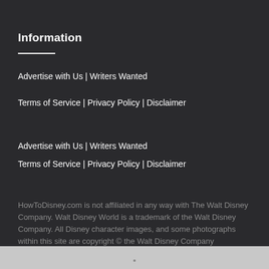Information
Advertise with Us | Writers Wanted
Terms of Service | Privacy Policy | Disclaimer
Advertise with Us | Writers Wanted
Terms of Service | Privacy Policy | Disclaimer
HowToDisney.com is not affiliated in any way with The Walt Disney Company. Walt Disney World is a trademark of the Walt Disney Company. All Disney character images, and some photographs within this site are copyright © the Walt Disney Company